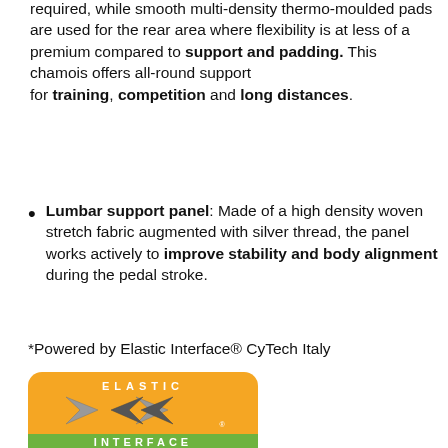required, while smooth multi-density thermo-moulded pads are used for the rear area where flexibility is at less of a premium compared to support and padding. This chamois offers all-round support for training, competition and long distances.
Lumbar support panel: Made of a high density woven stretch fabric augmented with silver thread, the panel works actively to improve stability and body alignment during the pedal stroke.
*Powered by Elastic Interface® CyTech Italy
[Figure (logo): Elastic Interface logo — orange rounded rectangle with silver arrow motif and text 'ELASTIC INTERFACE' in green band at bottom]